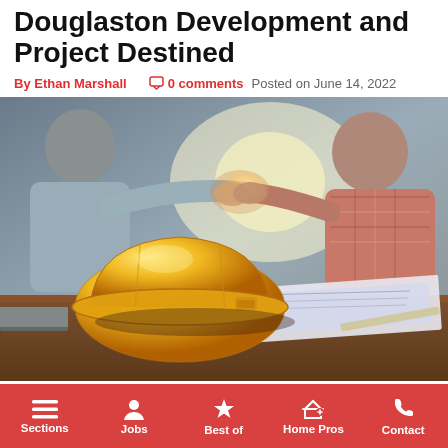Douglaston Development and Project Destined
By Ethan Marshall   0 comments   Posted on June 14, 2022
[Figure (photo): Construction photo showing a yellow hard hat on a table with blueprints, and two people shaking hands in the background near a bright window.]
Sections  Jobs  Best of  Home Pros  Contact